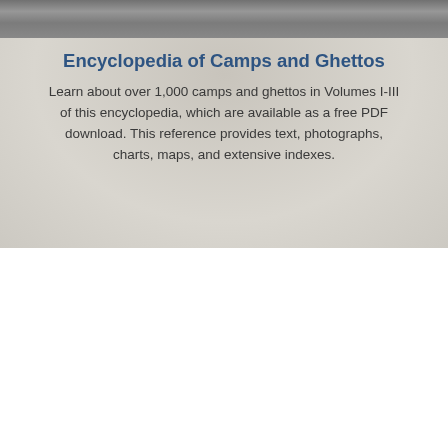[Figure (photo): Black and white historical photograph strip at the top of the page]
Encyclopedia of Camps and Ghettos
Learn about over 1,000 camps and ghettos in Volumes I-III of this encyclopedia, which are available as a free PDF download. This reference provides text, photographs, charts, maps, and extensive indexes.
Further Your Research
ABOUT THE MUSEUM'S COLLECTIONS
PLAN A RESEARCH VISIT